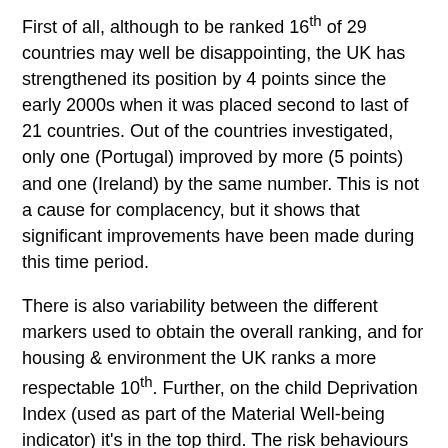First of all, although to be ranked 16th of 29 countries may well be disappointing, the UK has strengthened its position by 4 points since the early 2000s when it was placed second to last of 21 countries. Out of the countries investigated, only one (Portugal) improved by more (5 points) and one (Ireland) by the same number. This is not a cause for complacency, but it shows that significant improvements have been made during this time period.
There is also variability between the different markers used to obtain the overall ranking, and for housing & environment the UK ranks a more respectable 10th. Further, on the child Deprivation Index (used as part of the Material Well-being indicator) it's in the top third. The risk behaviours of smoking, drinking, cannabis use, and physical fighting all show positive downward trends.
Teenage fertility (live births) is highlighted in the report as an area where the UK actually shows an increase over the last decade. Again, it is important to note the significant achievements made in this area. Report Card 11 groups all of the UK countries together, but we know from recent